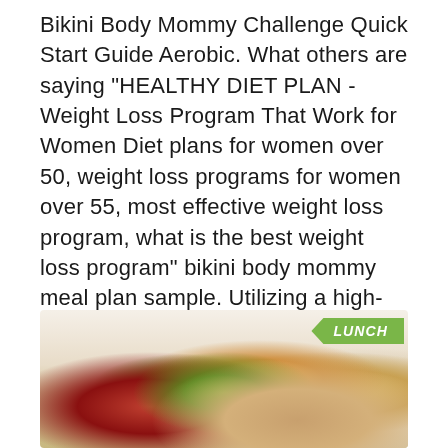Bikini Body Mommy Challenge Quick Start Guide Aerobic. What others are saying "HEALTHY DIET PLAN - Weight Loss Program That Work for Women Diet plans for women over 50, weight loss programs for women over 55, most effective weight loss program, what is the best weight loss program" bikini body mommy meal plan sample. Utilizing a high-protein, low-carb approach to nutrition, the monthly meal plan is far more than just a few dinner suggestions, it's weekly system..
[Figure (photo): A colorful salad dish with mixed greens, red cabbage, shredded carrots, and what appears to be grilled chicken, with a small bowl of dressing on the side. A green arrow-shaped label reads LUNCH in the top right corner.]